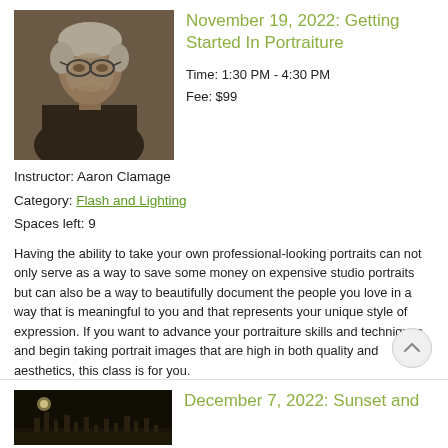[Figure (photo): Black and white sepia portrait of an elderly man with glasses resting his chin on his hand]
November 19, 2022: Getting Started In Portraiture
Time: 1:30 PM - 4:30 PM
Fee: $99
Instructor: Aaron Clamage
Category: Flash and Lighting
Spaces left: 9
Having the ability to take your own professional-looking portraits can not only serve as a way to save some money on expensive studio portraits but can also be a way to beautifully document the people you love in a way that is meaningful to you and that represents your unique style of expression. If you want to advance your portraiture skills and techniques and begin taking portrait images that are high in both quality and aesthetics, this class is for you.
Full Details | Registration
[Figure (photo): Dark nighttime photo with what appears to be a city skyline or towers against a dark sky with a faint moon]
December 7, 2022: Sunset and